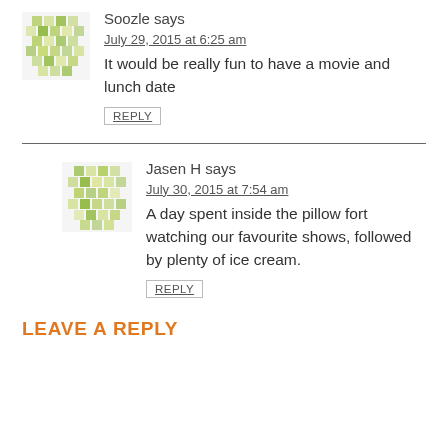[Figure (illustration): Green pixel/mosaic avatar for user Soozle]
Soozle says
July 29, 2015 at 6:25 am
It would be really fun to have a movie and lunch date
REPLY
[Figure (illustration): Green pixel/mosaic avatar for user Jasen H]
Jasen H says
July 30, 2015 at 7:54 am
A day spent inside the pillow fort watching our favourite shows, followed by plenty of ice cream.
REPLY
LEAVE A REPLY